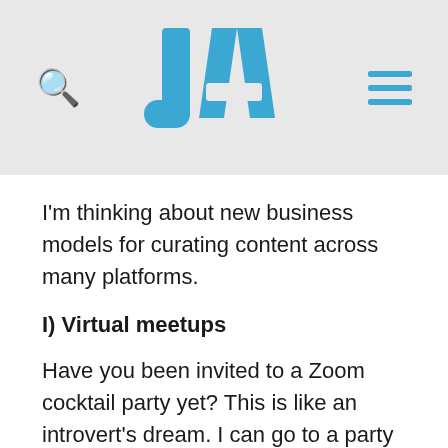JA (logo with search and menu icons)
I'm thinking about new business models for curating content across many platforms.
I) Virtual meetups
Have you been invited to a Zoom cocktail party yet? This is like an introvert's dream. I can go to a party and also be by myself without feeling like a weirdo. BOOM!
Possible business model: allowing people to list live virtual events and invite the public. An